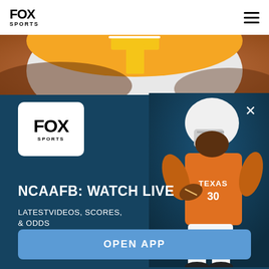[Figure (logo): FOX Sports logo in navigation bar, top left]
[Figure (photo): Close-up photo of a football helmet with orange and yellow colors, Tennessee Volunteers]
[Figure (screenshot): FOX Sports app promotional banner with dark blue background showing a Texas Longhorns football player in orange uniform running with the ball]
NCAAFB: WATCH LIVE
LATESTVIDEOS, SCORES, & ODDS
OPEN APP